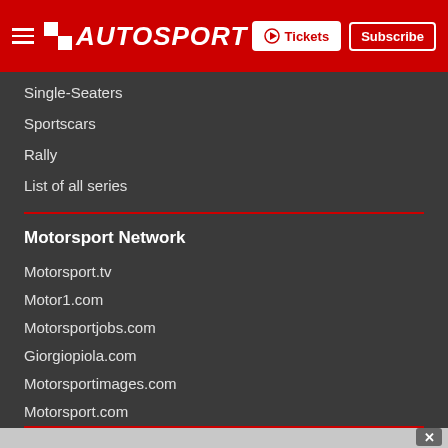AUTOSPORT | Tickets | Subscribe
Single-Seaters
Sportscars
Rally
List of all series
Motorsport Network
Motorsport.tv
Motor1.com
Motorsportjobs.com
Giorgiopiola.com
Motorsportimages.com
Motorsport.com
Motorsportstats.com